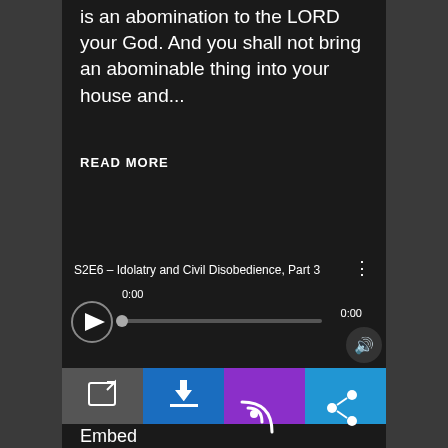is an abomination to the LORD your God. And you shall not bring an abominable thing into your house and...
READ MORE
[Figure (screenshot): Audio player widget showing episode S2E6 – Idolatry and Civil Disobedience, Part 3, with play button, progress bar at 0:00, volume button, and four action buttons: open/external link (gray), download (blue), subscribe/RSS (purple), share (blue), plus an Embed label below.]